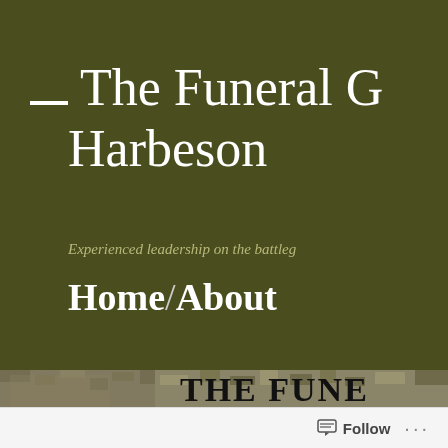— The Funeral of Harbeson
Experienced leadership on the battlegr…
Home / About
[Figure (photo): A cropped banner image showing a soldier in camouflage with large bold text reading 'THE FUNE...' overlaid on a digital camo background]
Follow ...